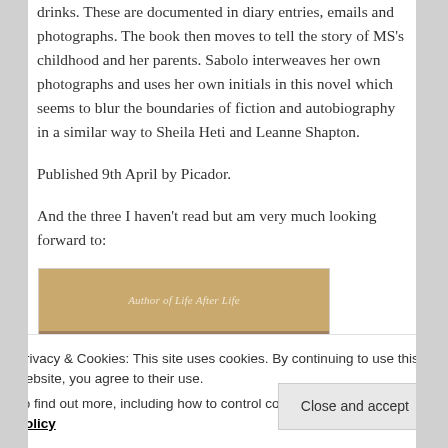drinks. These are documented in diary entries, emails and photographs. The book then moves to tell the story of MS's childhood and her parents. Sabolo interweaves her own photographs and uses her own initials in this novel which seems to blur the boundaries of fiction and autobiography in a similar way to Sheila Heti and Leanne Shapton.
Published 9th April by Picador.
And the three I haven't read but am very much looking forward to:
[Figure (photo): Book cover showing tan/gold background with italic text 'Author of Life After Life' and a photo below]
Privacy & Cookies: This site uses cookies. By continuing to use this website, you agree to their use.
To find out more, including how to control cookies, see here: Cookie Policy